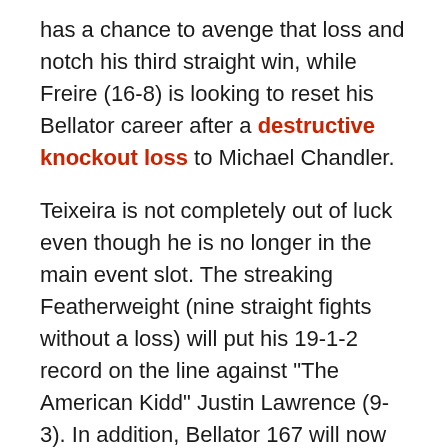has a chance to avenge that loss and notch his third straight win, while Freire (16-8) is looking to reset his Bellator career after a destructive knockout loss to Michael Chandler.
Teixeira is not completely out of luck even though he is no longer in the main event slot. The streaking Featherweight (nine straight fights without a loss) will put his 19-1-2 record on the line against "The American Kidd" Justin Lawrence (9-3). In addition, Bellator 167 will now feature a key rematch between "The Wolf" Darrion Caldwell (9-1) and Joe Taimanglo (23-6-1). Caldwell seemed to have their first meeting well in hand until he was caught in a guillotine choke in the third round. The undefeated Caldwell seemed ready for a Bantamweight title shot before the loss, while Taimanglo could solidify his claim as a contender if he